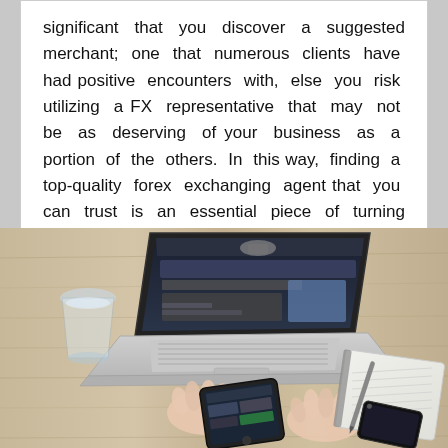significant that you discover a suggested merchant; one that numerous clients have had positive encounters with, else you risk utilizing a FX representative that may not be as deserving of your business as a portion of the others. In this way, finding a top-quality forex exchanging agent that you can trust is an essential piece of turning into a fruitful forex cash broker.
[Figure (photo): Overhead view of a person typing on a MacBook laptop on a wooden desk, with a smartphone showing a website, a glass of water, and a spiral notebook with a pen also on the desk.]